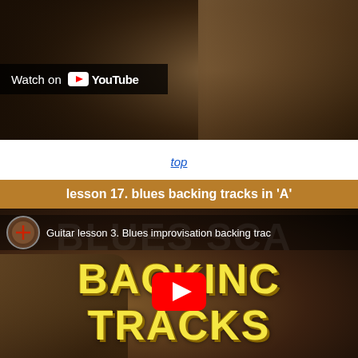[Figure (screenshot): YouTube video thumbnail showing a guitar in dark brown/sepia tones with 'Watch on YouTube' overlay button in the upper-left area]
top
lesson 17. blues backing tracks in 'A'
[Figure (screenshot): YouTube embedded video player showing 'Guitar lesson 3. Blues improvisation backing tracks' with channel icon, large text 'BACKING TRACKS' in yellow on dark guitar background, and YouTube play button in center]